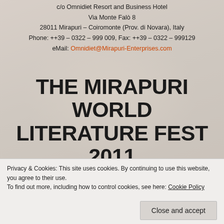c/o Omnidiet Resort and Business Hotel
Via Monte Falò 8
28011 Mirapuri – Coiromonte (Prov. di Novara), Italy
Phone: ++39 – 0322 – 999 009, Fax: ++39 – 0322 – 999129
eMail: Omnidiet@Mirapuri-Enterprises.com
THE MIRAPURI WORLD LITERATURE FEST 2011 PRESENTS:
"LITERATURE, MUSIC, ART
Privacy & Cookies: This site uses cookies. By continuing to use this website, you agree to their use.
To find out more, including how to control cookies, see here: Cookie Policy
Close and accept
FOR THE FUTURE WORLD"